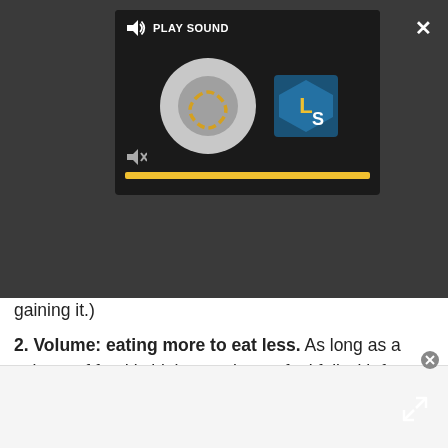[Figure (screenshot): Audio media player overlay on dark background showing PLAY SOUND label with speaker icon, a circular loading/play graphic, and an LS logo. Bottom has mute icon and yellow progress bar.]
gaining it.)
2. Volume: eating more to eat less. As long as a volume of food is high, people can feel full with fewer calories. In one study, researchers varied the amount of water in a food eaten as a first course and found subjects who ate soup before a meal consumed 26 percent fewer calories at the main course. In another study, the researchers served salads before a main course, and found people ate about 100 calories fewer at the following meal.